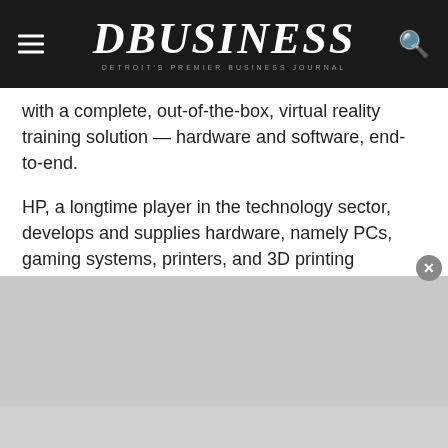DBUSINESS — Detroit's Premier Business Journal
with a complete, out-of-the-box, virtual reality training solution — hardware and software, end-to-end.
HP, a longtime player in the technology sector, develops and supplies hardware, namely PCs, gaming systems, printers, and 3D printing solutions. More recently, the company has developed a suite of virtual reality hardware products, and needed software to provide a full range of VR training services.
Enter PIXO VR, a Michigan-based startup that designs high-